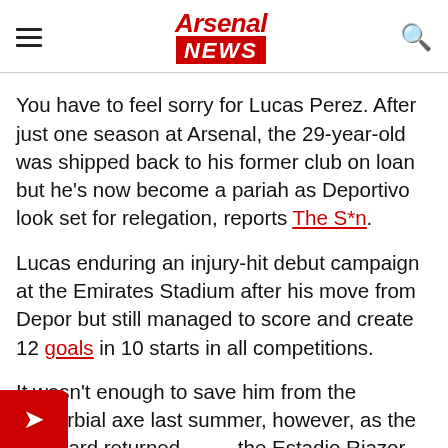Arsenal NEWS
You have to feel sorry for Lucas Perez. After just one season at Arsenal, the 29-year-old was shipped back to his former club on loan but he's now become a pariah as Deportivo look set for relegation, reports The S*n.
Lucas enduring an injury-hit debut campaign at the Emirates Stadium after his move from Depor but still managed to score and create 12 goals in 10 starts in all competitions.
It wasn't enough to save him from the proverbial axe last summer, however, as the Spaniard returned the Estadio Riazor after Olivier Giroud opted to y at Arsenal.